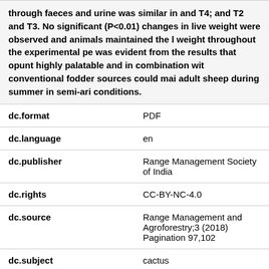through faeces and urine was similar in and T4; and T2 and T3. No significant (P<0.01) changes in live weight were observed and animals maintained the live weight throughout the experimental period. It was evident from the results that opuntia is highly palatable and in combination with conventional fodder sources could maintain adult sheep during summer in semi-arid conditions.
| Field | Value |
| --- | --- |
| dc.format | PDF |
| dc.language | en |
| dc.publisher | Range Management Society of India |
| dc.rights | CC-BY-NC-4.0 |
| dc.source | Range Management and Agroforestry;39(2018) Pagination 97,102 |
| dc.subject | cactus |